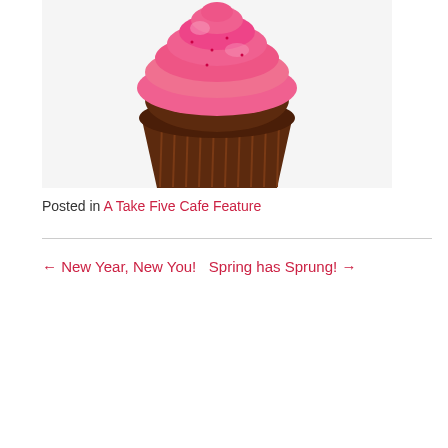[Figure (photo): A chocolate cupcake with pink frosting swirled on top, on a white background]
Posted in A Take Five Cafe Feature
← New Year, New You!   Spring has Sprung! →